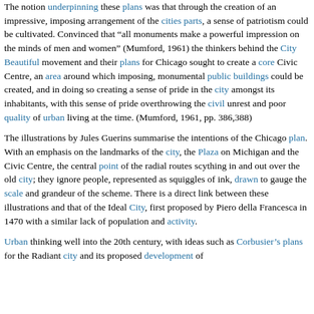The notion underpinning these plans was that through the creation of an impressive, imposing arrangement of the cities parts, a sense of patriotism could be cultivated. Convinced that "all monuments make a powerful impression on the minds of men and women" (Mumford, 1961) the thinkers behind the City Beautiful movement and their plans for Chicago sought to create a core Civic Centre, an area around which imposing, monumental public buildings could be created, and in doing so creating a sense of pride in the city amongst its inhabitants, with this sense of pride overthrowing the civil unrest and poor quality of urban living at the time. (Mumford, 1961, pp. 386,388)
The illustrations by Jules Guerins summarise the intentions of the Chicago plan. With an emphasis on the landmarks of the city, the Plaza on Michigan and the Civic Centre, the central point of the radial routes scything in and out over the old city; they ignore people, represented as squiggles of ink, drawn to gauge the scale and grandeur of the scheme. There is a direct link between these illustrations and that of the Ideal City, first proposed by Piero della Francesca in 1470 with a similar lack of population and activity.
Urban thinking well into the 20th century, with ideas such as Corbusier's plans for the Radiant city and its proposed development of